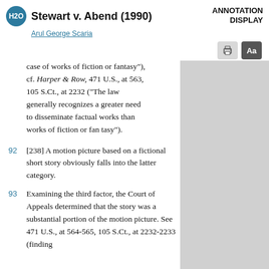Stewart v. Abend (1990) | Arul George Scaria | ANNOTATION DISPLAY
case of works of fiction or fantasy"), cf. Harper & Row, 471 U.S., at 563, 105 S.Ct., at 2232 ("The law generally recognizes a greater need to disseminate factual works than works of fiction or fan tasy").
92  [238] A motion picture based on a fictional short story obviously falls into the latter category.
93  Examining the third factor, the Court of Appeals determined that the story was a substantial portion of the motion picture. See 471 U.S., at 564-565, 105 S.Ct., at 2232-2233 (finding of significant appropriation found...